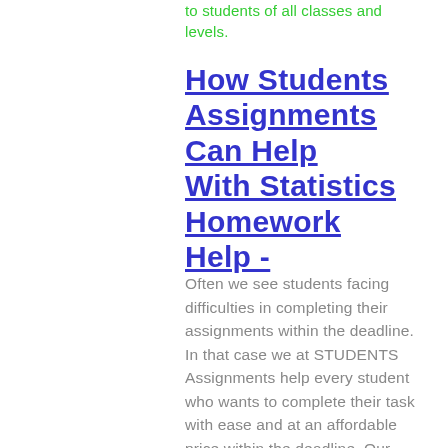to students of all classes and levels.
How Students Assignments Can Help With Statistics Homework Help -
Often we see students facing difficulties in completing their assignments within the deadline. In that case we at STUDENTS Assignments help every student who wants to complete their task with ease and at an affordable price within the deadline. Our quality support will definitely lessen your project submission worries and also will